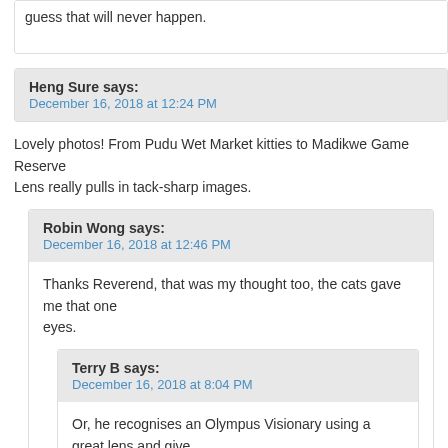guess that will never happen.
Heng Sure says:
December 16, 2018 at 12:24 PM
Lovely photos! From Pudu Wet Market kitties to Madikwe Game Reserve... Lens really pulls in tack-sharp images.
Robin Wong says:
December 16, 2018 at 12:46 PM
Thanks Reverend, that was my thought too, the cats gave me that one... eyes.
Terry B says:
December 16, 2018 at 8:04 PM
Or, he recognises an Olympus Visionary using a great lens and give... images. We are so used to seeing the work of the true wildlife prof...